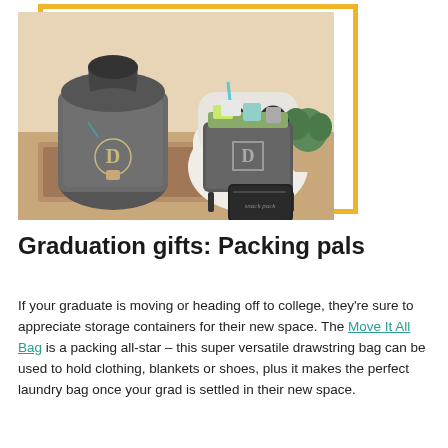[Figure (photo): Photo of graduation gifts including a large grey drawstring duffle bag with 'D' monogram, a grey insulated tote bag with 'D' monogram filled with snacks and gifts, and a small black pouch labeled 'snack pack', all arranged near a white armchair with a plant in the background.]
Graduation gifts: Packing pals
If your graduate is moving or heading off to college, they're sure to appreciate storage containers for their new space. The Move It All Bag is a packing all-star – this super versatile drawstring bag can be used to hold clothing, blankets or shoes, plus it makes the perfect laundry bag once your grad is settled in their new space.